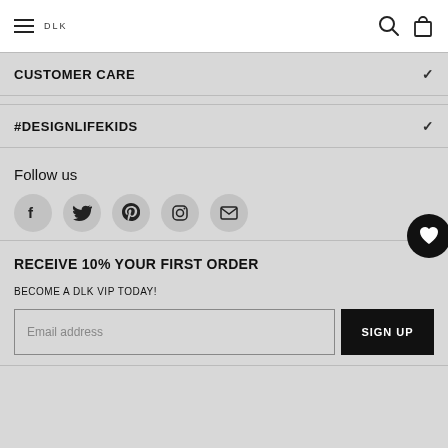DLK (logo/brand)
CUSTOMER CARE
#DESIGNLIFEKIDS
Follow us
[Figure (infographic): Social media icons: Facebook, Twitter, Pinterest, Instagram, Email (envelope)]
RECEIVE 10% YOUR FIRST ORDER
BECOME A DLK VIP TODAY!
Email address [input field] SIGN UP [button]